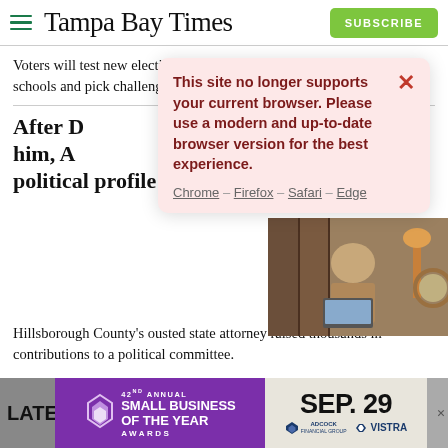Tampa Bay Times
Voters will test new election laws, decide on local tax initiatives for schools and pick challengers to Marco Rubio and Ron
After D[...] him, An[...] political profile grows
[Figure (screenshot): Modal dialog with pink/red background warning: 'This site no longer supports your current browser. Please use a modern and up-to-date browser version for the best experience. Chrome – Firefox – Safari – Edge']
Hillsborough County's ousted state attorney raised thousands in contributions to a political committee.
[Figure (infographic): 42nd Annual Small Business of the Year Awards – Sep. 29 – Adcock Financial Group – Vistra advertisement banner]